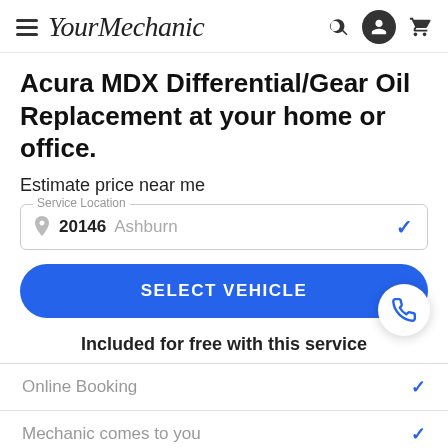YourMechanic
Acura MDX Differential/Gear Oil Replacement at your home or office.
Estimate price near me
Service Location — 20146 Ashburn
SELECT VEHICLE
Included for free with this service
Online Booking
Mechanic comes to you